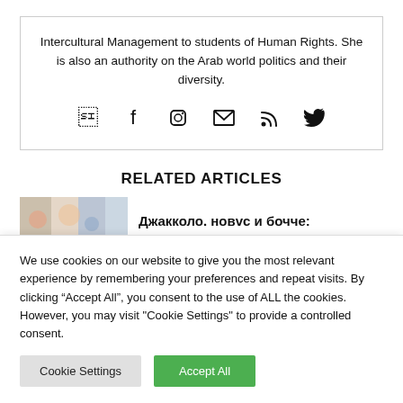Intercultural Management to students of Human Rights. She is also an authority on the Arab world politics and their diversity.
[Figure (infographic): Social media icons row: Facebook, Instagram, Email, RSS, Twitter]
RELATED ARTICLES
[Figure (photo): Thumbnail image for related article]
Джакколо. новvc и бочче:
We use cookies on our website to give you the most relevant experience by remembering your preferences and repeat visits. By clicking "Accept All", you consent to the use of ALL the cookies. However, you may visit "Cookie Settings" to provide a controlled consent.
Cookie Settings | Accept All